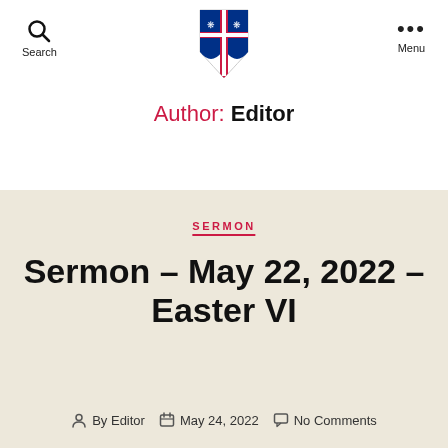Search | Menu
[Figure (logo): Episcopal Church shield logo with cross and fleur-de-lis]
Author: Editor
SERMON
Sermon – May 22, 2022 – Easter VI
By Editor  May 24, 2022  No Comments